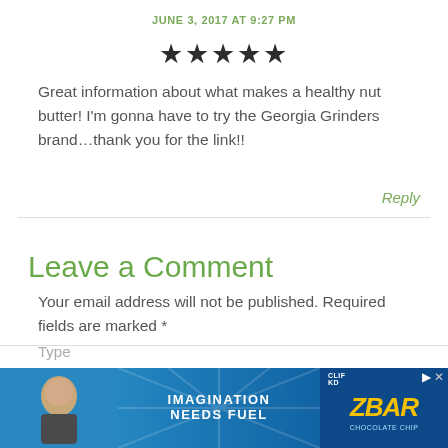JUNE 3, 2017 AT 9:27 PM
[Figure (other): Five filled black stars rating]
Great information about what makes a healthy nut butter! I'm gonna have to try the Georgia Grinders brand…thank you for the link!!
Reply
Leave a Comment
Your email address will not be published. Required fields are marked *
[Figure (photo): Advertisement banner showing a child eating a snack bar with text 'IMAGINATION NEEDS FUEL' and CLIF Z-Bar branding on a blue background]